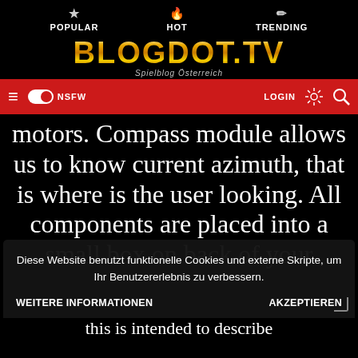POPULAR  HOT  TRENDING
[Figure (logo): BLOGDOT.TV logo with golden gradient text and subtitle 'Spielblog Österreich']
≡  NSFW toggle  LOGIN  sun-icon  search-icon
motors. Compass module allows us to know current azimuth, that is where is the user looking. All components are placed into a small box on back of your
Diese Website benutzt funktionelle Cookies und externe Skripte, um Ihr Benutzererlebnis zu verbessern.
WEITERE INFORMATIONEN    AKZEPTIEREN